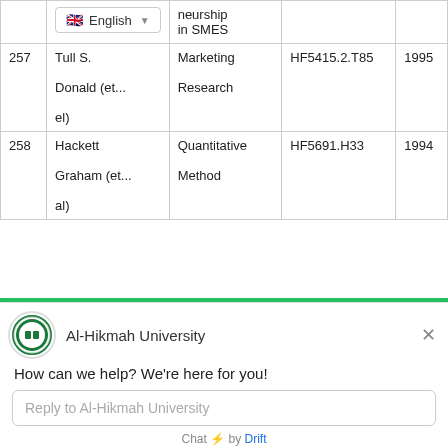| No. | Author | Title | Call No. | Year |
| --- | --- | --- | --- | --- |
|  | English ▼ | neurship in SMES |  |  |
| 257 | Tull S. Donald (et... el) | Marketing Research | HF5415.2.T85 | 1995 |
| 258 | Hackett Graham (et... al) | Quantitative Method | HF5691.H33 | 1994 |
[Figure (screenshot): Al-Hikmah University chat widget with logo, greeting message, reply input box, and 'Chat by Drift' footer]